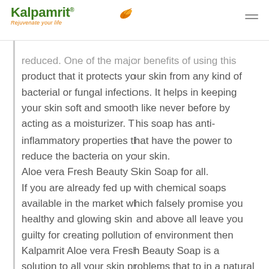Kalpamrit — Rejuvenate your life
reduced. One of the major benefits of using this product that it protects your skin from any kind of bacterial or fungal infections. It helps in keeping your skin soft and smooth like never before by acting as a moisturizer. This soap has anti-inflammatory properties that have the power to reduce the bacteria on your skin.
Aloe vera Fresh Beauty Skin Soap for all.
If you are already fed up with chemical soaps available in the market which falsely promise you healthy and glowing skin and above all leave you guilty for creating pollution of environment then Kalpamrit Aloe vera Fresh Beauty Soap is a solution to all your skin problems that to in a natural way.